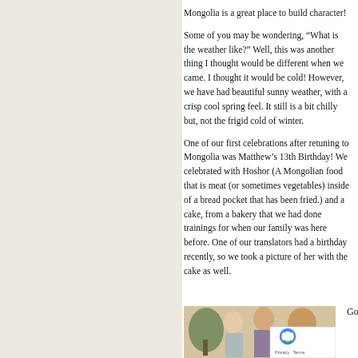Mongolia is a great place to build character!
Some of you may be wondering, “What is the weather like?” Well, this was another thing I thought would be different when we came. I thought it would be cold! However, we have had beautiful sunny weather, with a crisp cool spring feel. It still is a bit chilly but, not the frigid cold of winter.
One of our first celebrations after retuning to Mongolia was Matthew’s 13th Birthday! We celebrated with Hoshor (A Mongolian food that is meat (or sometimes vegetables) inside of a bread pocket that has been fried.) and a cake, from a bakery that we had done trainings for when our family was here before. One of our translators had a birthday recently, so we took a picture of her with the cake as well.
[Figure (photo): Group photo of three women smiling indoors, with a plant in the background. A reCAPTCHA badge overlay is visible in the lower right corner.]